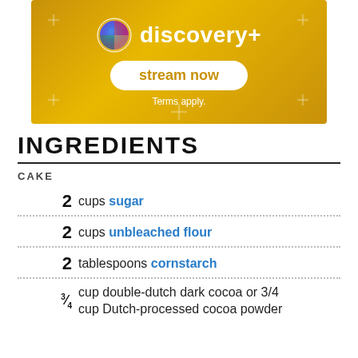[Figure (other): Discovery+ advertisement banner with gold gradient background, rainbow logo, 'stream now' button, and 'Terms apply.' text]
INGREDIENTS
CAKE
2 cups sugar
2 cups unbleached flour
2 tablespoons cornstarch
3/4 cup double-dutch dark cocoa or 3/4 cup Dutch-processed cocoa powder